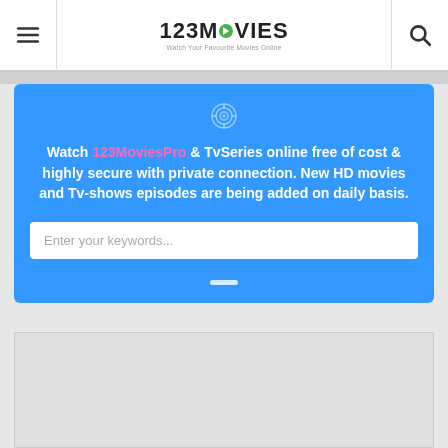123MOVIES — Watch Your Favourite Movies Online
Watch 123MoviesPro & TvSeries online free of cost & highly secure with private connection. New HD movies and Tv-shows episodes are being added on daily basis.
Enter your keywords...
[Figure (other): Advertisement placeholder box (gray background)]